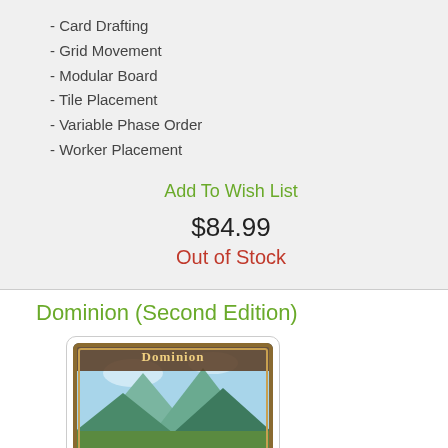- Card Drafting
- Grid Movement
- Modular Board
- Tile Placement
- Variable Phase Order
- Worker Placement
Add To Wish List
$84.99
Out of Stock
Dominion (Second Edition)
[Figure (photo): Box art for Dominion Second Edition board game showing mountains and landscape]
Theme
Card Game